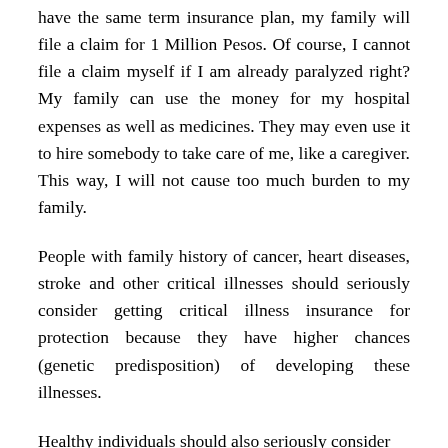have the same term insurance plan, my family will file a claim for 1 Million Pesos. Of course, I cannot file a claim myself if I am already paralyzed right? My family can use the money for my hospital expenses as well as medicines. They may even use it to hire somebody to take care of me, like a caregiver. This way, I will not cause too much burden to my family.
People with family history of cancer, heart diseases, stroke and other critical illnesses should seriously consider getting critical illness insurance for protection because they have higher chances (genetic predisposition) of developing these illnesses.
Healthy individuals should also seriously consider...